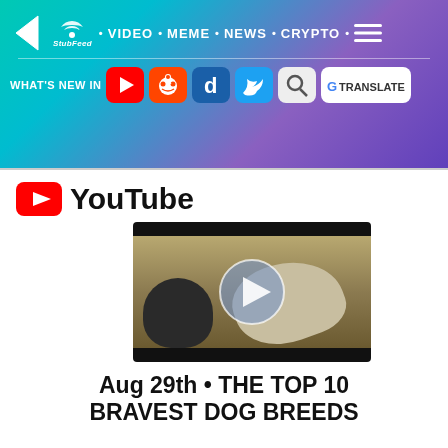StubFeed • VIDEO • MEME • NEWS • CRYPTO • WHAT'S NEW IN [social icons]
[Figure (screenshot): YouTube logo with red play button icon and video thumbnail showing two dogs, with play button overlay. Text below reads: Aug 29th • THE TOP 10 BRAVEST DOG BREEDS]
Aug 29th • THE TOP 10 BRAVEST DOG BREEDS